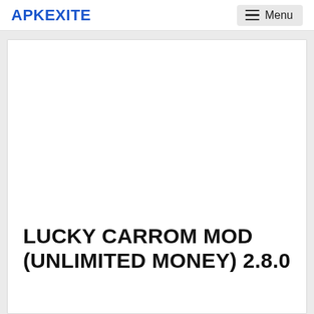APKEXITE
[Figure (other): White blank image area placeholder for Lucky Carrom game screenshot]
LUCKY CARROM MOD (UNLIMITED MONEY) 2.8.0